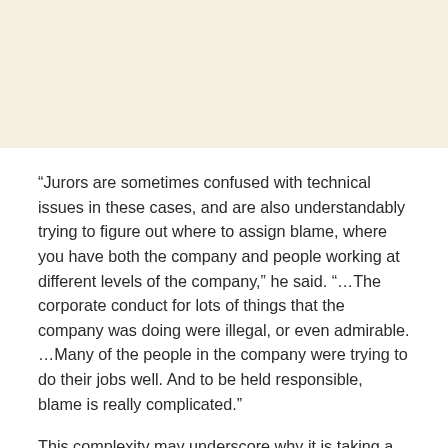“Jurors are sometimes confused with technical issues in these cases, and are also understandably trying to figure out where to assign blame, where you have both the company and people working at different levels of the company,” he said. “…The corporate conduct for lots of things that the company was doing were illegal, or even admirable. …Many of the people in the company were trying to do their jobs well. And to be held responsible, blame is really complicated.”
This complexity may underscore why it is taking a